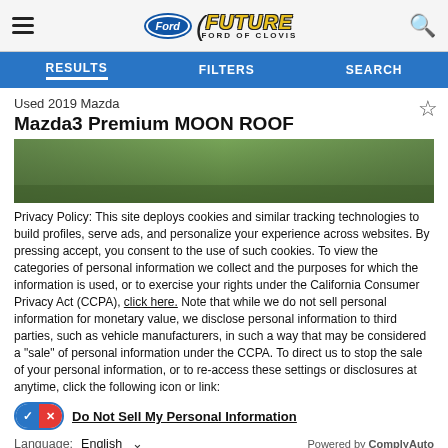[Figure (screenshot): Future Ford of Clovis dealership website header with Ford logo, Future Ford of Clovis logo, hamburger menu, and search icon]
RESULTS | FILTERS | SEARCH
Used 2019 Mazda Mazda3 Premium MOON ROOF
[Figure (photo): Partial photo of a used 2019 Mazda Mazda3 vehicle with trees in background]
Privacy Policy: This site deploys cookies and similar tracking technologies to build profiles, serve ads, and personalize your experience across websites. By pressing accept, you consent to the use of such cookies. To view the categories of personal information we collect and the purposes for which the information is used, or to exercise your rights under the California Consumer Privacy Act (CCPA), click here. Note that while we do not sell personal information for monetary value, we disclose personal information to third parties, such as vehicle manufacturers, in such a way that may be considered a "sale" of personal information under the CCPA. To direct us to stop the sale of your personal information, or to re-access these settings or disclosures at anytime, click the following icon or link:
Do Not Sell My Personal Information
Language: English
Powered by ComplyAuto
Accept and Continue → | California Privacy Disclosures